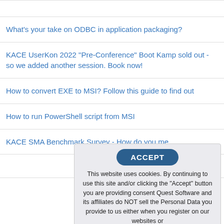What's your take on ODBC in application packaging?
KACE UserKon 2022 "Pre-Conference" Boot Kamp sold out - so we added another session. Book now!
How to convert EXE to MSI? Follow this guide to find out
How to run PowerShell script from MSI
KACE SMA Benchmark Survey - How do you me...
ACCEPT
This website uses cookies. By continuing to use this site and/or clicking the "Accept" button you are providing consent Quest Software and its affiliates do NOT sell the Personal Data you provide to us either when you register on our websites or